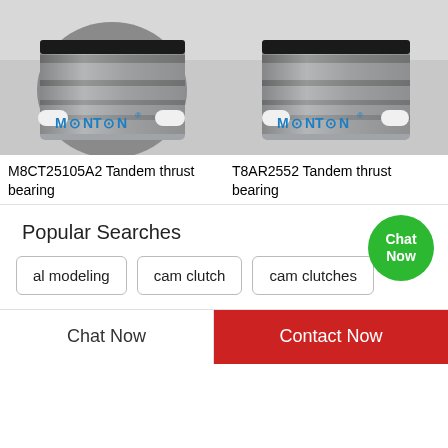[Figure (photo): M8CT25105A2 Tandem thrust bearing - cylindrical steel bearing with MONTON branding]
M8CT25105A2 Tandem thrust bearing
[Figure (photo): T8AR2552 Tandem thrust bearing - cylindrical steel bearing with MONTON branding]
T8AR2552 Tandem thrust bearing
Popular Searches
al modeling
cam clutch
cam clutches
Chat Now
Contact Now